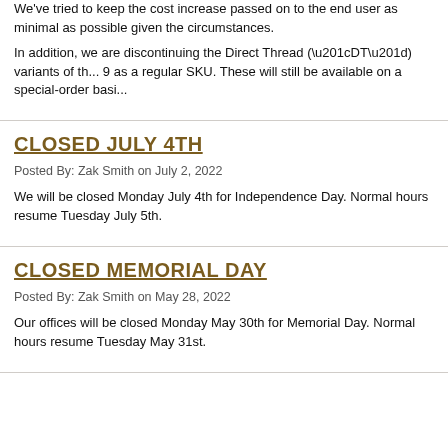We've tried to keep the cost increase passed on to the end user as minimal as possible given the circumstances.
In addition, we are discontinuing the Direct Thread (“DT”) variants of th... 9 as a regular SKU. These will still be available on a special-order basi...
CLOSED JULY 4TH
Posted By: Zak Smith on July 2, 2022
We will be closed Monday July 4th for Independence Day. Normal hours resume Tuesday July 5th.
CLOSED MEMORIAL DAY
Posted By: Zak Smith on May 28, 2022
Our offices will be closed Monday May 30th for Memorial Day. Normal hours resume Tuesday May 31st.